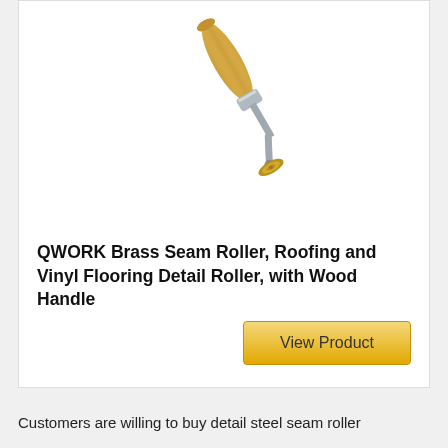[Figure (photo): A seam roller tool with a wooden handle, chrome/silver metal arm, and a small brass wheel at the bottom, photographed against a white background.]
QWORK Brass Seam Roller, Roofing and Vinyl Flooring Detail Roller, with Wood Handle
View Product
Customers are willing to buy detail steel seam roller